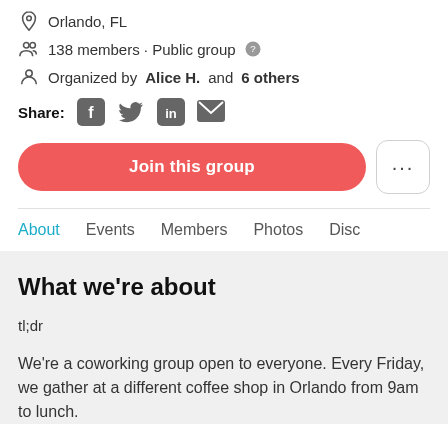Orlando, FL
138 members · Public group
Organized by Alice H. and 6 others
Share:
Join this group
About   Events   Members   Photos   Disc
What we're about
tl;dr
We're a coworking group open to everyone. Every Friday, we gather at a different coffee shop in Orlando from 9am to lunch.